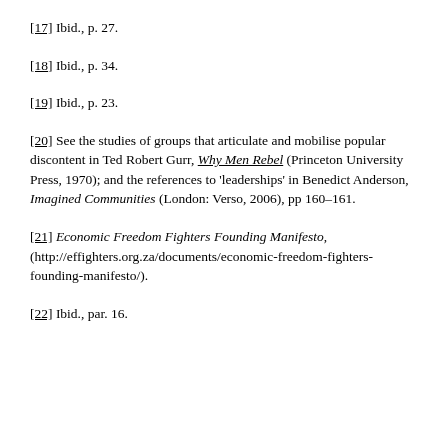[17] Ibid., p. 27.
[18] Ibid., p. 34.
[19] Ibid., p. 23.
[20] See the studies of groups that articulate and mobilise popular discontent in Ted Robert Gurr, Why Men Rebel (Princeton University Press, 1970); and the references to 'leaderships' in Benedict Anderson, Imagined Communities (London: Verso, 2006), pp 160–161.
[21] Economic Freedom Fighters Founding Manifesto, (http://effighters.org.za/documents/economic-freedom-fighters-founding-manifesto/).
[22] Ibid., par. 16.